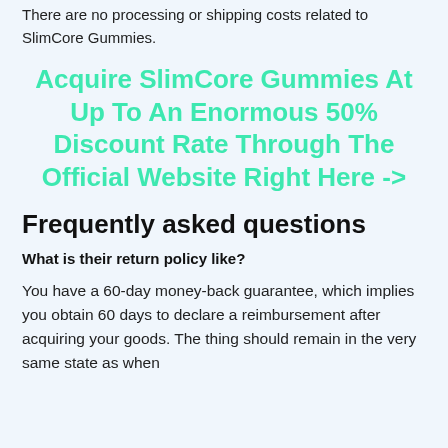There are no processing or shipping costs related to SlimCore Gummies.
Acquire SlimCore Gummies At Up To An Enormous 50% Discount Rate Through The Official Website Right Here ->
Frequently asked questions
What is their return policy like?
You have a 60-day money-back guarantee, which implies you obtain 60 days to declare a reimbursement after acquiring your goods. The thing should remain in the very same state as when